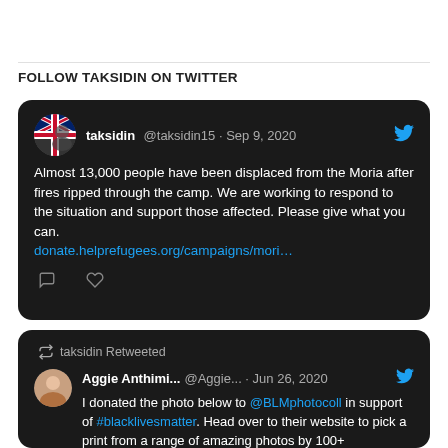FOLLOW TAKSIDIN ON TWITTER
[Figure (screenshot): Tweet by taksidin @taksidin15 on Sep 9, 2020: Almost 13,000 people have been displaced from the Moria after fires ripped through the camp. We are working to respond to the situation and support those affected. Please give what you can. donate.helprefugees.org/campaigns/mori…]
[Figure (screenshot): Retweet by taksidin. Aggie Anthimi... @Aggie... Jun 26, 2020: I donated the photo below to @BLMphotocoll in support of #blacklivesmatter. Head over to their website to pick a print from a range of amazing photos by 100+ photographers and support the initiative. 100% of proceeds go to BLM…]